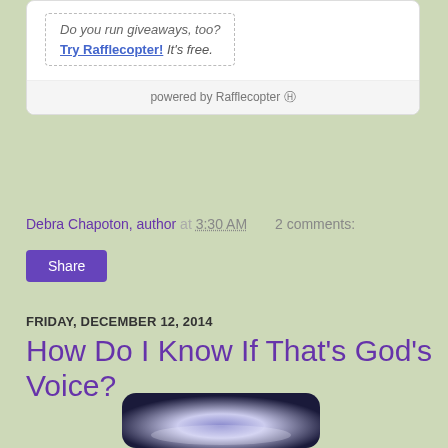[Figure (screenshot): Rafflecopter widget showing giveaway promo text 'Do you run giveaways, too? Try Rafflecopter! It's free.' with a 'powered by Rafflecopter' footer bar]
Debra Chapoton, author at 3:30 AM    2 comments:
Share
FRIDAY, DECEMBER 12, 2014
How Do I Know If That's God's Voice?
[Figure (photo): Partial image of a book cover with dark purple/blue gradient rounded rectangle design]